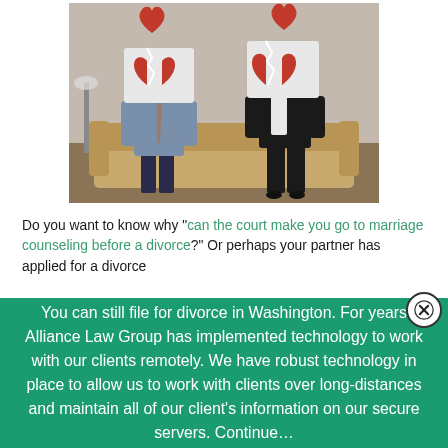[Figure (photo): A man and woman sitting on a beige sofa, each holding up a sign with a broken red heart. They are facing away from each other, suggesting conflict or divorce.]
Do you want to know why “can the court make you go to marriage counseling before a divorce?” Or perhaps your partner has applied for a divorce
You can still file for divorce in Washington. For years Alliance Law Group has implemented technology to work with our clients remotely. We have robust technology in place to allow us to work with clients over long-distances and maintain all of our client’s information on our secure servers. Continue…